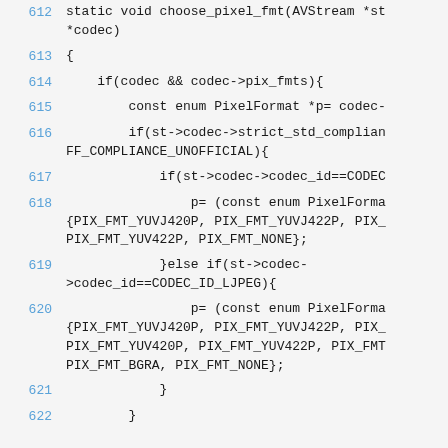612  static void choose_pixel_fmt(AVStream *st, *codec)
613  {
614      if(codec && codec->pix_fmts){
615          const enum PixelFormat *p= codec-
616          if(st->codec->strict_std_compliance FF_COMPLIANCE_UNOFFICIAL){
617              if(st->codec->codec_id==CODEC
618                  p= (const enum PixelForma {PIX_FMT_YUVJ420P, PIX_FMT_YUVJ422P, PIX_ PIX_FMT_YUV422P, PIX_FMT_NONE};
619              }else if(st->codec->codec_id==CODEC_ID_LJPEG){
620                  p= (const enum PixelForma {PIX_FMT_YUVJ420P, PIX_FMT_YUVJ422P, PIX_ PIX_FMT_YUV420P, PIX_FMT_YUV422P, PIX_FMT PIX_FMT_BGRA, PIX_FMT_NONE};
621              }
622          }